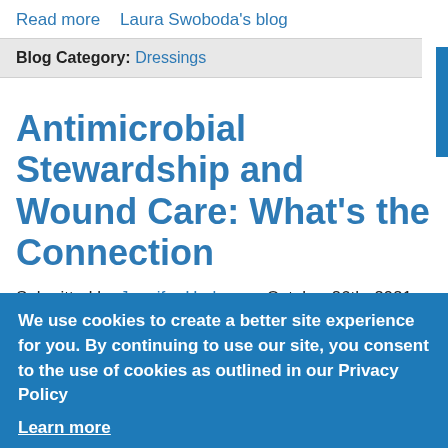Read more   Laura Swoboda's blog
Blog Category: Dressings
Antimicrobial Stewardship and Wound Care: What's the Connection
Submitted by Jennifer Hurlow on October 26th, 2021
Keywords:
We use cookies to create a better site experience for you. By continuing to use our site, you consent to the use of cookies as outlined in our Privacy Policy
Learn more